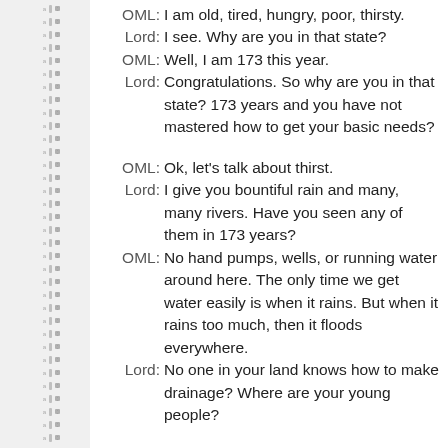OML: I am old, tired, hungry, poor, thirsty.
Lord: I see. Why are you in that state?
OML: Well, I am 173 this year.
Lord: Congratulations. So why are you in that state? 173 years and you have not mastered how to get your basic needs?
OML: Ok, let's talk about thirst.
Lord: I give you bountiful rain and many, many rivers. Have you seen any of them in 173 years?
OML: No hand pumps, wells, or running water around here. The only time we get water easily is when it rains. But when it rains too much, then it floods everywhere.
Lord: No one in your land knows how to make drainage? Where are your young people?
OML: Oh, they are all on Facebook.
Lord: Do they need Facebook?